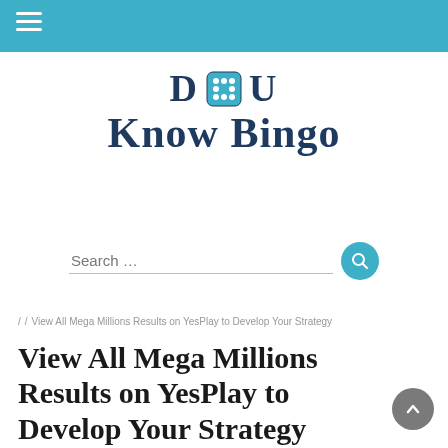[Navigation bar with hamburger menu]
[Figure (logo): Do U Know Bingo logo with dice replacing the letter 'o' in 'Do', dark navy blue serif text on white background]
Search …
/ / View All Mega Millions Results on YesPlay to Develop Your Strategy
View All Mega Millions Results on YesPlay to Develop Your Strategy